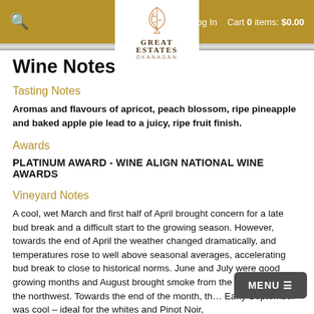Log In   Cart 0 items: $0.00
[Figure (logo): Great Estates Okanagan logo with stylized vine/leaf graphic, white background]
Wine Notes
Tasting Notes
Aromas and flavours of apricot, peach blossom, ripe pineapple and baked apple pie lead to a juicy, ripe fruit finish.
Awards
PLATINUM AWARD - WINE ALIGN NATIONAL WINE AWARDS
Vineyard Notes
A cool, wet March and first half of April brought concern for a late bud break and a difficult start to the growing season. However, towards the end of April the weather changed dramatically, and temperatures rose to well above seasonal averages, accelerating bud break to close to historical norms. June and July were good growing months and August brought smoke from the many fires to the northwest. Towards the end of the month, th… Early September was cool – ideal for the whites and Pinot Noir,